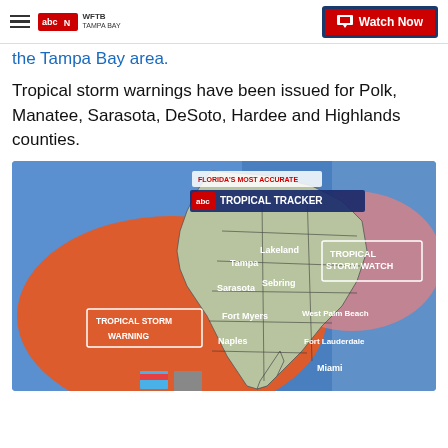WFTB TAMPA BAY | Watch Now
the Tampa Bay area.
Tropical storm warnings have been issued for Polk, Manatee, Sarasota, DeSoto, Hardee and Highlands counties.
[Figure (map): Florida tropical tracker map showing Tropical Storm Warning (orange) and Tropical Storm Watch (pink) areas covering west and south Florida including Tampa, Lakeland, Sarasota, Fort Myers, Naples, West Palm Beach, Fort Lauderdale, Sebring, and Miami regions.]